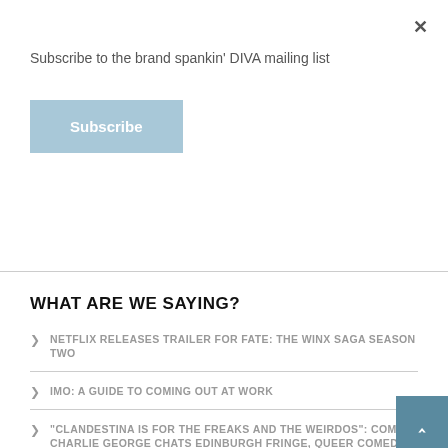Subscribe to the brand spankin' DIVA mailing list
Subscribe
WHAT ARE WE SAYING?
NETFLIX RELEASES TRAILER FOR FATE: THE WINX SAGA SEASON TWO
IMO: A GUIDE TO COMING OUT AT WORK
"CLANDESTINA IS FOR THE FREAKS AND THE WEIRDOS": COMIC CHARLIE GEORGE CHATS EDINBURGH FRINGE, QUEER COMEDY AND BEING AUTISTIC